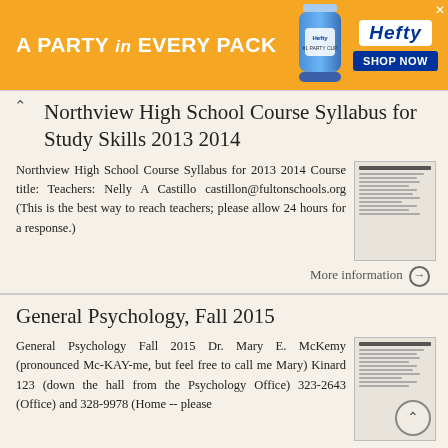[Figure (other): Hefty orange advertisement banner: 'A PARTY in EVERY PACK' with Hefty Party Cup image and Shop Now button]
Northview High School Course Syllabus for Study Skills 2013 2014
Northview High School Course Syllabus for 2013 2014 Course title: Teachers: Nelly A Castillo castillon@fultonschools.org (This is the best way to reach teachers; please allow 24 hours for a response.)
More information →
General Psychology, Fall 2015
General Psychology Fall 2015 Dr. Mary E. McKemy (pronounced Mc-KAY-me, but feel free to call me Mary) Kinard 123 (down the hall from the Psychology Office) 323-2643 (Office) and 328-9978 (Home -- please